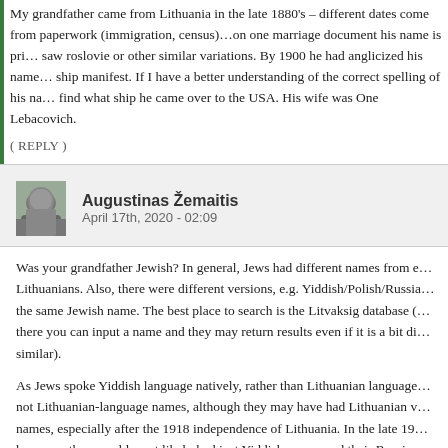My grandfather came from Lithuania in the late 1880's – different dates come from paperwork (immigration, census)…on one marriage document his name is pri… saw roslovie or other similar variations. By 1900 he had anglicized his name… ship manifest. If I have a better understanding of the correct spelling of his na… find what ship he came over to the USA. His wife was One Lebacovich.
( REPLY )
Augustinas Žemaitis
April 17th, 2020 - 02:09
Was your grandfather Jewish? In general, Jews had different names from e… Lithuanians. Also, there were different versions, e.g. Yiddish/Polish/Russia… the same Jewish name. The best place to search is the Litvaksig database (… there you can input a name and they may return results even if it is a bit di… similar).
As Jews spoke Yiddish language natively, rather than Lithuanian language… not Lithuanian-language names, although they may have had Lithuanian v… names, especially after the 1918 independence of Lithuania. In the late 19… however, they would most likely had just Yiddish names and their Russian… Russian documents that were official in the Russian Empire) and sometim… (as Polish was the dominant cultural/literary language in Lithuania until so… 1890s).
( REPLY )